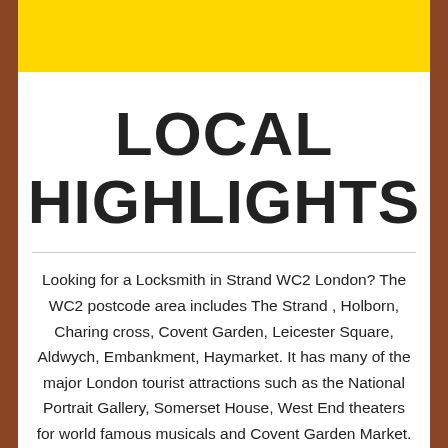LOCAL HIGHLIGHTS
Looking for a Locksmith in Strand WC2 London? The WC2 postcode area includes The Strand , Holborn, Charing cross, Covent Garden, Leicester Square, Aldwych, Embankment, Haymarket. It has many of the major London tourist attractions such as the National Portrait Gallery, Somerset House, West End theaters for world famous musicals and Covent Garden Market. WC2 postcode is located between Bloomsbury (WC1) to the north, St Paul's (EC2) to